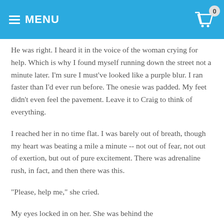MENU
He was right. I heard it in the voice of the woman crying for help. Which is why I found myself running down the street not a minute later. I'm sure I must've looked like a purple blur. I ran faster than I'd ever run before. The onesie was padded. My feet didn't even feel the pavement. Leave it to Craig to think of everything.
I reached her in no time flat. I was barely out of breath, though my heart was beating a mile a minute -- not out of fear, not out of exertion, but out of pure excitement. There was adrenaline rush, in fact, and then there was this.
"Please, help me," she cried.
My eyes locked in on her. She was behind the